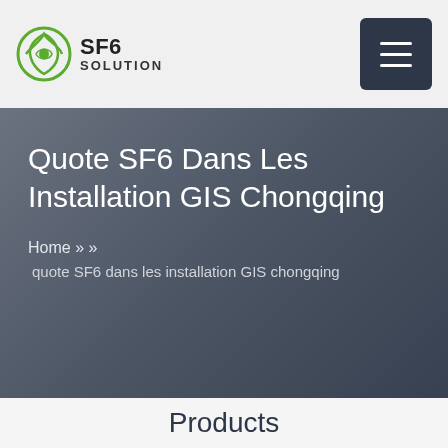SF6 SOLUTION
Quote SF6 Dans Les Installation GIS Chongqing
Home » » quote SF6 dans les installation GIS chongqing
Products